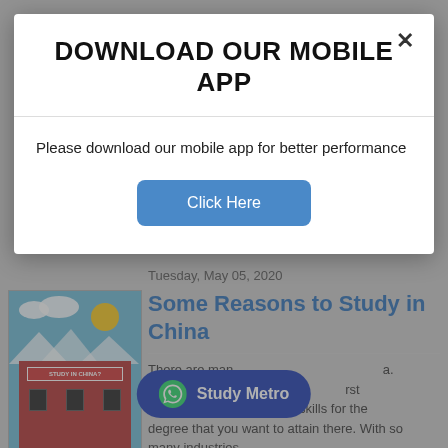DOWNLOAD OUR MOBILE APP
Please download our mobile app for better performance
Click Here
Tuesday, May 05, 2020
Some Reasons to Study in China
There are many ... a. However, it is i... first if you have the necessary skills for the degree that you want to attain there. With so many industries...
[Figure (screenshot): Study in China thumbnail illustration with building, clouds and sun]
[Figure (other): Study Metro WhatsApp contact button (blue pill shape with WhatsApp icon)]